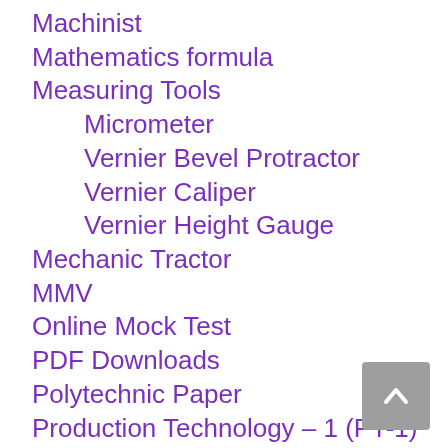Machinist
Mathematics formula
Measuring Tools
Micrometer
Vernier Bevel Protractor
Vernier Caliper
Vernier Height Gauge
Mechanic Tractor
MMV
Online Mock Test
PDF Downloads
Polytechnic Paper
Production Technology – 1 (PT-1)
Today G.K
Turner
Uncategorised
Webl…